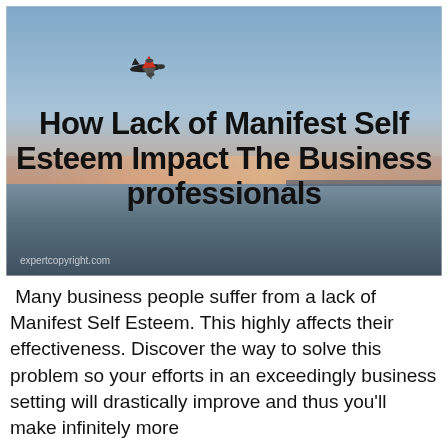[Figure (photo): A sunset/dusk seascape photo with a blue-to-pink gradient sky, a small airplane in the upper left, calm water in the foreground, and overlaid bold black text reading 'How Lack of Manifest Self Esteem Impact The Business professionals'. A watermark 'expertcopyright.com' appears at the bottom left.]
Many business people suffer from a lack of Manifest Self Esteem. This highly affects their effectiveness. Discover the way to solve this problem so your efforts in an exceedingly business setting will drastically improve and thus you'll make infinitely more